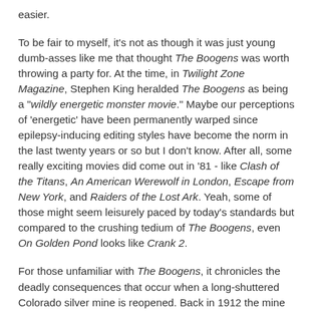easier.
To be fair to myself, it's not as though it was just young dumb-asses like me that thought The Boogens was worth throwing a party for. At the time, in Twilight Zone Magazine, Stephen King heralded The Boogens as being a "wildly energetic monster movie." Maybe our perceptions of 'energetic' have been permanently warped since epilepsy-inducing editing styles have become the norm in the last twenty years or so but I don't know. After all, some really exciting movies did come out in '81 - like Clash of the Titans, An American Werewolf in London, Escape from New York, and Raiders of the Lost Ark. Yeah, some of those might seem leisurely paced by today's standards but compared to the crushing tedium of The Boogens, even On Golden Pond looks like Crank 2.
For those unfamiliar with The Boogens, it chronicles the deadly consequences that occur when a long-shuttered Colorado silver mine is reopened. Back in 1912 the mine was closed thanks to reports by the miners at the time of mysterious attacks on them. Turns out that it was damn